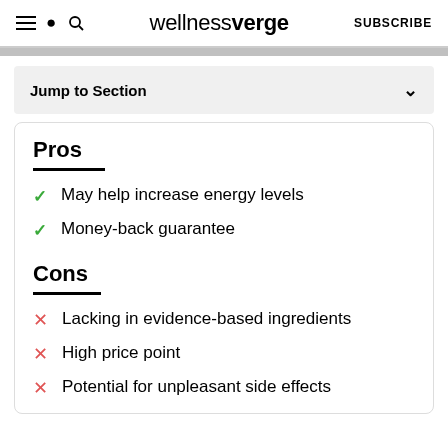wellnessverge | SUBSCRIBE
Jump to Section
Pros
May help increase energy levels
Money-back guarantee
Cons
Lacking in evidence-based ingredients
High price point
Potential for unpleasant side effects